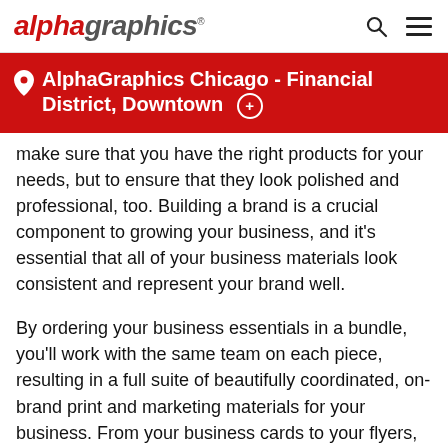alphagraphics
AlphaGraphics Chicago - Financial District, Downtown
make sure that you have the right products for your needs, but to ensure that they look polished and professional, too. Building a brand is a crucial component to growing your business, and it's essential that all of your business materials look consistent and represent your brand well.
By ordering your business essentials in a bundle, you'll work with the same team on each piece, resulting in a full suite of beautifully coordinated, on-brand print and marketing materials for your business. From your business cards to your flyers, appointment cards, letterhead, and even banners, every touch point with